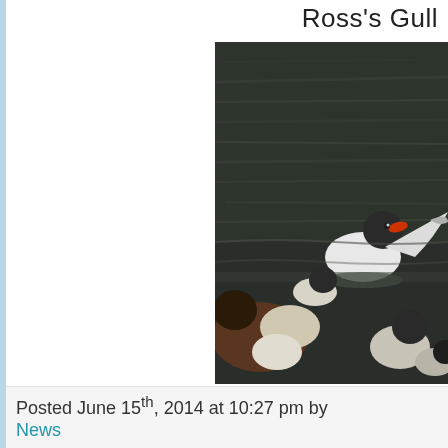Ross's Gull
[Figure (photo): Photograph of a Ross's Gull (white bird with dark head and red beak) swimming on water among other gulls/birds, viewed from a low angle with dark rippled water in background.]
Mediterranean Gu
Posted June 15th, 2014 at 10:27 pm by
News